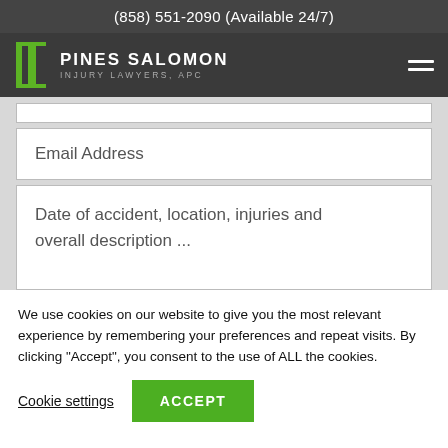(858) 551-2090 (Available 24/7)
[Figure (logo): Pines Salomon Injury Lawyers, APC logo with green pillar icon and white text on dark background]
Email Address
Date of accident, location, injuries and overall description ...
We use cookies on our website to give you the most relevant experience by remembering your preferences and repeat visits. By clicking “Accept”, you consent to the use of ALL the cookies.
Cookie settings
ACCEPT